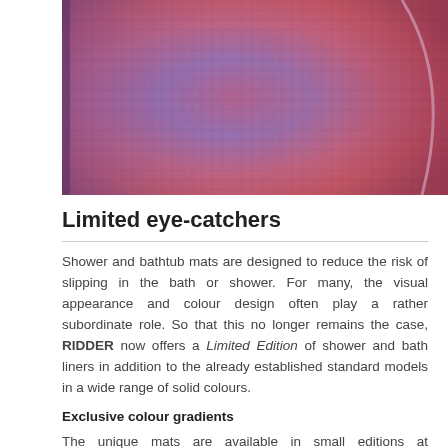[Figure (photo): Close-up macro photograph of a textured bath/shower mat inlay with purple, pink and blue colour gradient fabric pattern, with a curved edge visible.]
Limited eye-catchers
Shower and bathtub mats are designed to reduce the risk of slipping in the bath or shower. For many, the visual appearance and colour design often play a rather subordinate role. So that this no longer remains the case, RIDDER now offers a Limited Edition of shower and bath liners in addition to the already established standard models in a wide range of solid colours.
Exclusive colour gradients
The unique mats are available in small editions at badshop24 as long as stocks last. Unfortunately, only a small selection of the available colour gradients can be shown in the pictures, as each inlay is unique and cannot be duplicated. From dark red to black